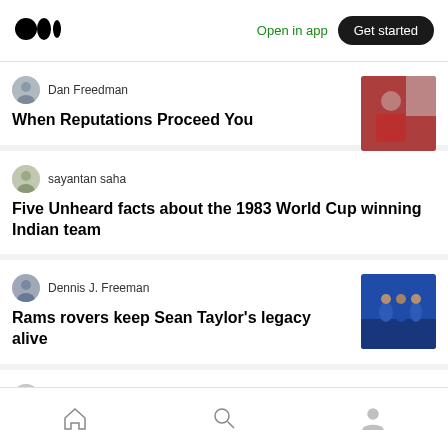[Figure (screenshot): Medium app logo (two overlapping black circles)]
Open in app
Get started
Dan Freedman
When Reputations Proceed You
[Figure (photo): Baseball player in red uniform pitching]
sayantan saha
Five Unheard facts about the 1983 World Cup winning Indian team
Dennis J. Freeman
Rams rovers keep Sean Taylor's legacy alive
[Figure (photo): Football players in blue uniforms on field]
Ekuznesova
[Figure (other): Bottom navigation bar with home, search, and profile icons]